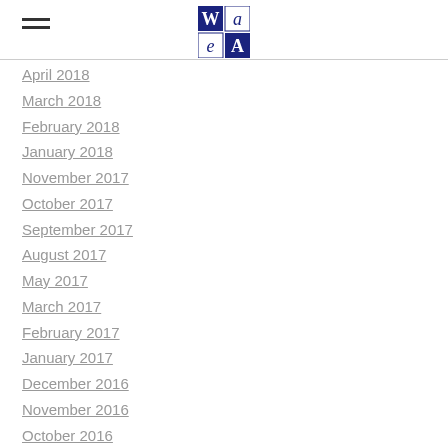WaeA logo and navigation menu
April 2018
March 2018
February 2018
January 2018
November 2017
October 2017
September 2017
August 2017
May 2017
March 2017
February 2017
January 2017
December 2016
November 2016
October 2016
September 2016
August 2016